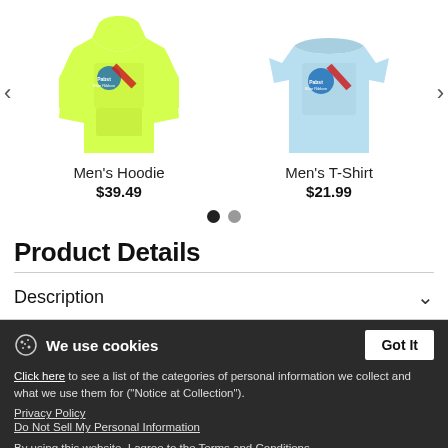[Figure (photo): Men's Hoodie product image - yellow-green hoodie with Pabst Blue Ribbon graphic]
Men's Hoodie
$39.49
[Figure (photo): Men's T-Shirt product image - light blue t-shirt with Pabst Blue Ribbon graphic]
Men's T-Shirt
$21.99
Product Details
Description
We use cookies
Click here to see a list of the categories of personal information we collect and what we use them for ("Notice at Collection").
Privacy Policy
Do Not Sell My Personal Information
By using this website, I agree to the Terms and Conditions